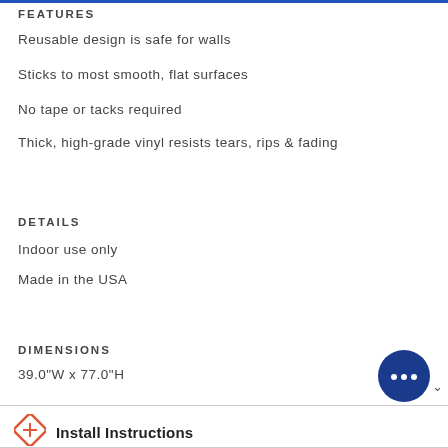FEATURES
Reusable design is safe for walls
Sticks to most smooth, flat surfaces
No tape or tacks required
Thick, high-grade vinyl resists tears, rips & fading
DETAILS
Indoor use only
Made in the USA
DIMENSIONS
39.0"W x 77.0"H
Install Instructions